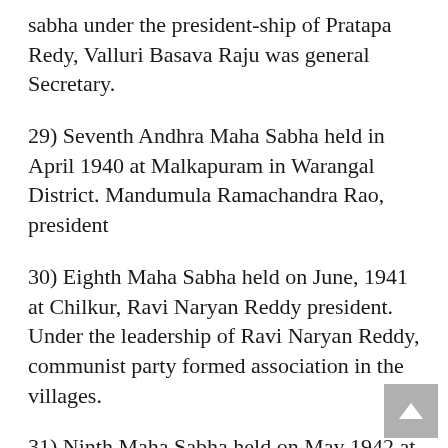sabha under the president-ship of Pratapa Redy, Valluri Basava Raju was general Secretary.
29) Seventh Andhra Maha Sabha held in April 1940 at Malkapuram in Warangal District. Mandumula Ramachandra Rao, president
30) Eighth Maha Sabha held on June, 1941 at Chilkur, Ravi Naryan Reddy president. Under the leadership of Ravi Naryan Reddy, communist party formed association in the villages.
31) Ninth Maha Sabha held on May 1942 at Dharmavaram, Madiraju Ramakoteswara Rao as president